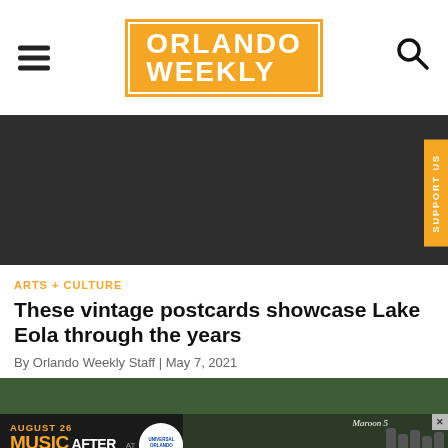ORLANDO WEEKLY
[Figure (photo): Dark/black header image banner area]
ARTS + CULTURE
These vintage postcards showcase Lake Eola through the years
By Orlando Weekly Staff | May 7, 2021
[Figure (photo): Partial green foliage photo at bottom of page]
[Figure (infographic): Advertisement banner: AUGUST 26 MUSIC AFTER DARK AT UNIVERSAL ORLANDO RESORT featuring Maroon 5]